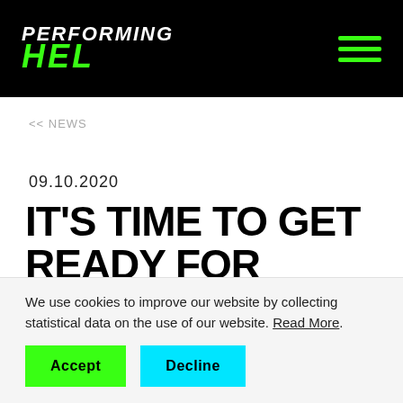PERFORMING HEL
<< NEWS
09.10.2020
IT'S TIME TO GET READY FOR PERFORMING HEL
We use cookies to improve our website by collecting statistical data on the use of our website. Read More.
Accept   Decline